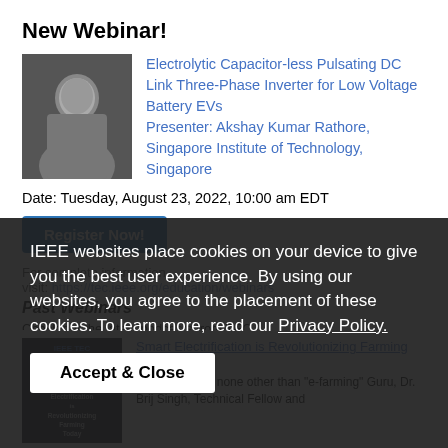New Webinar!
[Figure (photo): Headshot photo of Akshay Kumar Rathore]
Electrolytic Capacitor-less Pulsating DC Link Three-Phase Inverter for Low Voltage Battery EVs Presenter:  Akshay Kumar Rathore, Singapore Institute of Technology, Singapore
Date:  Tuesday, August 23, 2022, 10:00 am EDT
Register Now!
For complete information, visit: https://tec.ieee.org/education/webinars
Past Webinars
Check out the latest podcasts from TEC
[Figure (photo): IEEE TEC Podcast Series thumbnail - Smart Electrification is Revolutionizing Farming Today]
Smart Electrification is Revolutionizing Farming
Our guest was none other than "e-farming" Guru, Dr. Brij Singh, Technical Fellow and
IEEE websites place cookies on your device to give you the best user experience. By using our websites, you agree to the placement of these cookies. To learn more, read our Privacy Policy.
Accept & Close